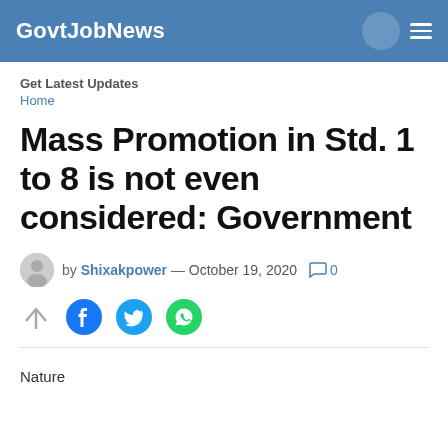GovtJobNews
Get Latest Updates
Home
Mass Promotion in Std. 1 to 8 is not even considered: Government
by Shixakpower — October 19, 2020  0
[Figure (infographic): Social share icons: share arrow, Facebook, Twitter, WhatsApp]
Nature